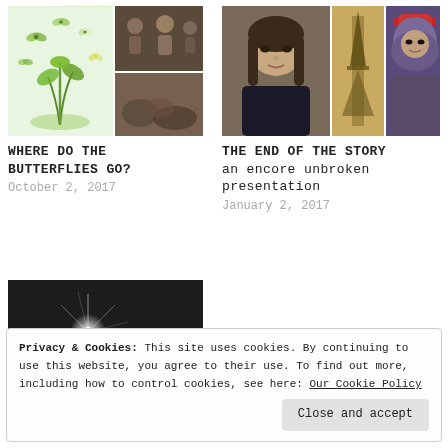[Figure (photo): Collage of nature with butterflies and group photo thumbnails]
WHERE DO THE BUTTERFLIES GO?
October 2, 2017
[Figure (photo): Collage of two women's portraits and Eiffel Tower]
THE END OF THE STORY an encore unbroken presentation
January 2, 2017
[Figure (photo): Star Turn logo on dark background with star burst effect]
Privacy & Cookies: This site uses cookies. By continuing to use this website, you agree to their use. To find out more, including how to control cookies, see here: Our Cookie Policy
Close and accept